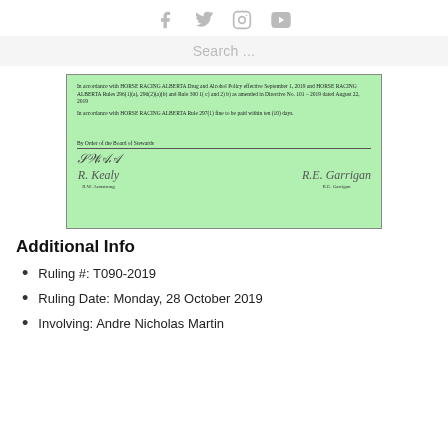Social media icons: Facebook, Twitter, Instagram, YouTube
Search ...
[Figure (photo): Scanned green document from Horse Racing Alberta. Text reads: In accordance with HORSE RACING ALBERTA Drug and Alcohol Policy effective September 1, 2019 and HORSE RACING ALBERTA Rules 296(1)(a), 296(2)(a)(b) and Rule 300 1( c) and 2) b) as amended in Directive No. 101 – 2019 dated August 22, 2019. In accordance with HORSE RACING ALBERTA Rule 297(1) fine to be paid within ten (10) days. By Order of the Board of Stewards. Signatures of R.W. Armstrong and R.E. Garrigan.]
Additional Info
Ruling #: T090-2019
Ruling Date: Monday, 28 October 2019
Involving: Andre Nicholas Martin